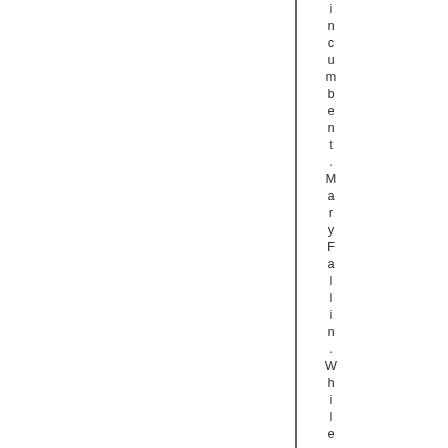incumbent .Mary Fallin .While an no